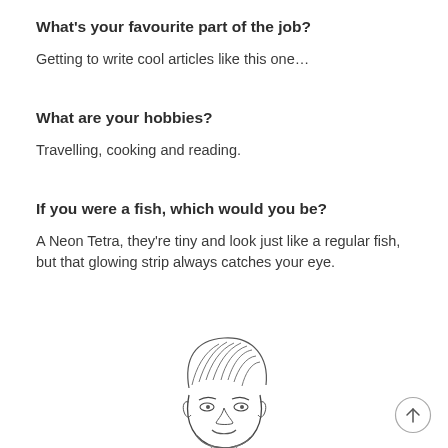What's your favourite part of the job?
Getting to write cool articles like this one…
What are your hobbies?
Travelling, cooking and reading.
If you were a fish, which would you be?
A Neon Tetra, they're tiny and look just like a regular fish, but that glowing strip always catches your eye.
[Figure (illustration): Sketch illustration of a man's face with styled hair and beard, smiling slightly, drawn in pencil/ink style]
[Figure (other): Back-to-top button: circle with upward arrow icon]